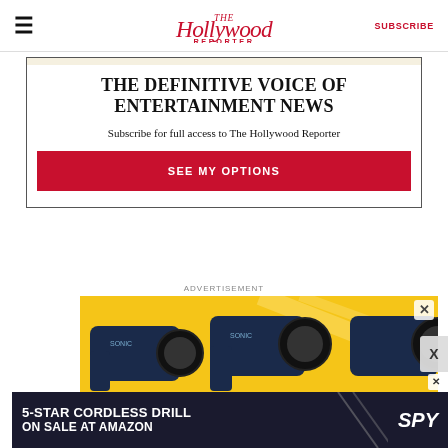The Hollywood Reporter | SUBSCRIBE
THE DEFINITIVE VOICE OF ENTERTAINMENT NEWS
Subscribe for full access to The Hollywood Reporter
SEE MY OPTIONS
ADVERTISEMENT
[Figure (photo): Advertisement showing massage guns on yellow background]
[Figure (photo): Bottom banner ad: 5-STAR CORDLESS DRILL ON SALE AT AMAZON - SPY]